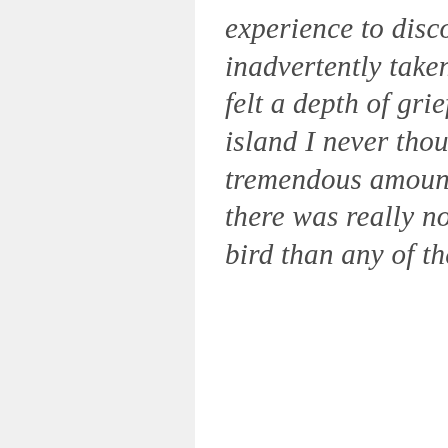experience to discover how much it impacted me that I had inadvertently taken the life of this beautiful, innocent creature. I felt a depth of grief I never thought I had in me, for one bird on one island I never thought I would visit. I discovered that I had this tremendous amount of grief over this one little life I had taken, but there was really nothing more beautiful or lovable about that one bird than any of the other albatross on the island